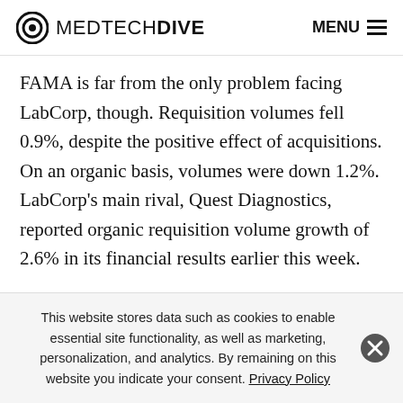MEDTECHDIVE  MENU
FAMA is far from the only problem facing LabCorp, though. Requisition volumes fell 0.9%, despite the positive effect of acquisitions. On an organic basis, volumes were down 1.2%. LabCorp's main rival, Quest Diagnostics, reported organic requisition volume growth of 2.6% in its financial results earlier this week.
The emergence of Quest as a competitor for UnitedHealthcare and Horizon Blue Cross Blue Shield of New Jersey...
This website stores data such as cookies to enable essential site functionality, as well as marketing, personalization, and analytics. By remaining on this website you indicate your consent. Privacy Policy